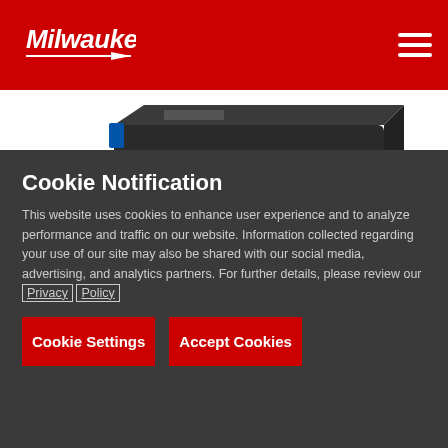[Figure (logo): Milwaukee Tool white script logo on red header background]
[Figure (photo): Milwaukee product device - black rectangular hardware module with connector port, partially shown on white background]
Cookie Notification
This website uses cookies to enhance user experience and to analyze performance and traffic on our website. Information collected regarding your use of our site may also be shared with our social media, advertising, and analytics partners. For further details, please review our Privacy Policy
Cookie Settings
Accept Cookies